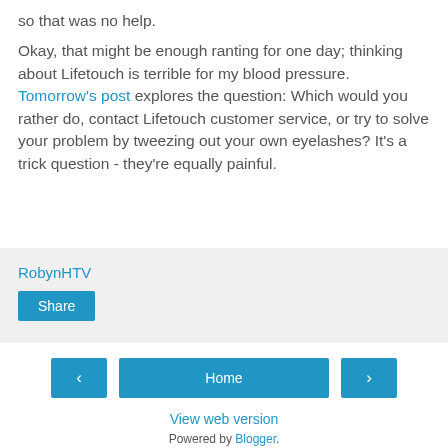so that was no help.
Okay, that might be enough ranting for one day; thinking about Lifetouch is terrible for my blood pressure. Tomorrow's post explores the question: Which would you rather do, contact Lifetouch customer service, or try to solve your problem by tweezing out your own eyelashes? It's a trick question - they're equally painful.
RobynHTV
Share
Home
View web version
Powered by Blogger.